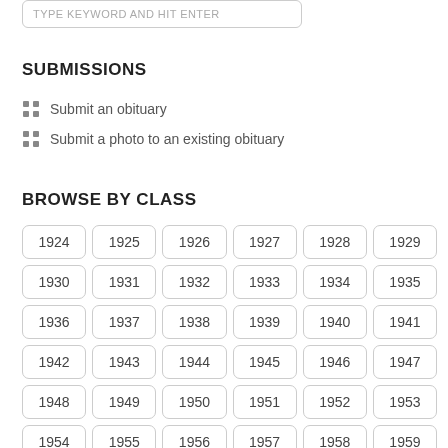TYPE KEYWORD AND HIT ENTER
SUBMISSIONS
Submit an obituary
Submit a photo to an existing obituary
BROWSE BY CLASS
1924 1925 1926 1927 1928 1929 1930 1931 1932 1933 1934 1935 1936 1937 1938 1939 1940 1941 1942 1943 1944 1945 1946 1947 1948 1949 1950 1951 1952 1953 1954 1955 1956 1957 1958 1959